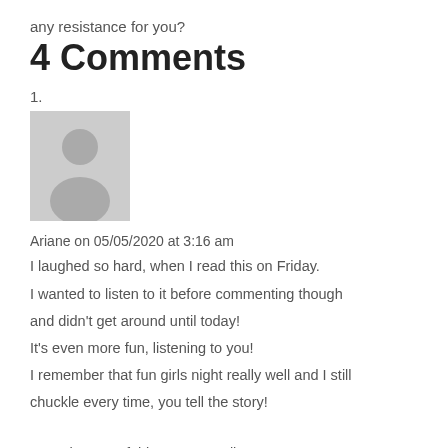any resistance for you?
4 Comments
1.
[Figure (illustration): Gray avatar placeholder image showing a generic person silhouette]
Ariane on 05/05/2020 at 3:16 am
I laughed so hard, when I read this on Friday.
I wanted to listen to it before commenting though and didn't get around until today!
It's even more fun, listening to you!
I remember that fun girls night really well and I still chuckle every time, you tell the story!

Love the rest of this post as well!!
I am very interested to hear more about your thoughts on waste. It's a subject that's constantly on